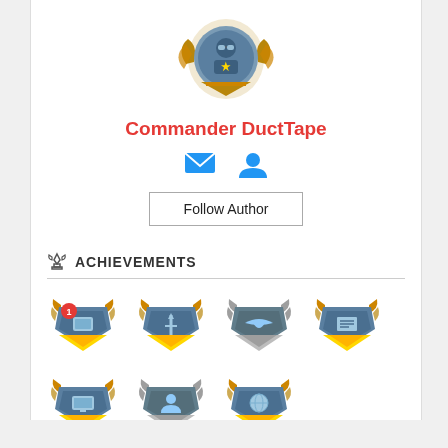[Figure (illustration): Circular avatar badge with bronze/gold winged shield frame and a character wearing goggles, centered at top of profile card]
Commander DuctTape
[Figure (illustration): Two blue icons: envelope/mail icon and person/user icon]
Follow Author
ACHIEVEMENTS
[Figure (illustration): Seven achievement badge icons arranged in two rows: row 1 has 5 gold/bronze winged shield badges, row 2 has 2 badges (silver and bronze winged shields)]